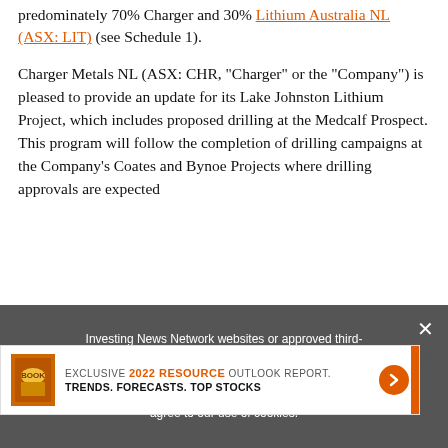predominately 70% Charger and 30% Lithium Australia NL (ASX: LIT) (see Schedule 1).
Charger Metals NL (ASX: CHR, "Charger" or the "Company") is pleased to provide an update for its Lake Johnston Lithium Project, which includes proposed drilling at the Medcalf Prospect. This program will follow the completion of drilling campaigns at the Company's Coates and Bynoe Projects where drilling approvals are expected...
[Figure (infographic): Advertisement banner: EXCLUSIVE 2022 RESOURCE OUTLOOK REPORT. TRENDS. FORECASTS. TOP STOCKS. Orange arrow button on right, orange vertical bar on far right, orange book cover image on left.]
Investing News Network websites or approved third-party tools use cookies. Please refer to the cookie policy for collected data, privacy and GDPR compliance. By continuing to browse the site, you agree to our use of cookies.